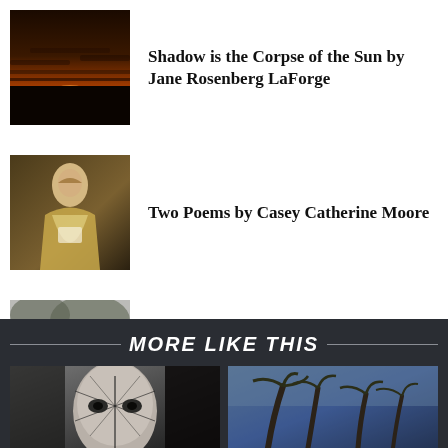[Figure (photo): Dark sunset sky with clouds and orange glow on the horizon]
Shadow is the Corpse of the Sun by Jane Rosenberg LaForge
[Figure (photo): Classical painting of a woman in a light dress holding papers]
Two Poems by Casey Catherine Moore
[Figure (photo): Black and white photo of two people, one playing guitar]
Joan, Bob and Ginsberg by Anant Dhavale
MORE LIKE THIS
[Figure (photo): Close-up portrait with dramatic face paint/makeup]
[Figure (photo): Palm trees bending in a storm with dramatic sky]